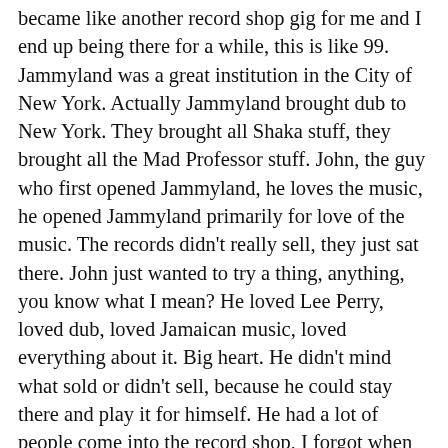became like another record shop gig for me and I end up being there for a while, this is like 99. Jammyland was a great institution in the City of New York. Actually Jammyland brought dub to New York. They brought all Shaka stuff, they brought all the Mad Professor stuff. John, the guy who first opened Jammyland, he loves the music, he opened Jammyland primarily for love of the music. The records didn't really sell, they just sat there. John just wanted to try a thing, anything, you know what I mean? He loved Lee Perry, loved dub, loved Jamaican music, loved everything about it. Big heart. He didn't mind what sold or didn't sell, because he could stay there and play it for himself. He had a lot of people come into the record shop, I forgot when they opened, if it's like 94, 95, anyway, but nobody was getting into it. I went in there one day and I saw all these records, as many Lee Perry as he can find, as many Mad Professor as he can find, as much Shaka as he can find, and he had record signings, but really people didn't know what from what. So a lot of records stayed there. When I was in Japan I fell really heavily into Mighty Massa. And for the duration I was in Japan that time, maybe it was six months, almost every month I reported on the mic. Massa was highly influenced by Shaka, Aha Shanti, Joey J... Massa, man,